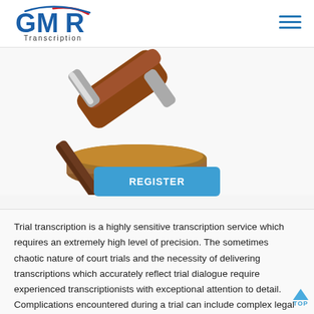[Figure (logo): GMR Transcription logo with blue G, blue and red arc design, and 'Transcription' text below]
[Figure (photo): A wooden judge's gavel resting on its sound block against a white background]
REGISTER
Trial transcription is a highly sensitive transcription service which requires an extremely high level of precision. The sometimes chaotic nature of court trials and the necessity of delivering transcriptions which accurately reflect trial dialogue require experienced transcriptionists with exceptional attention to detail. Complications encountered during a trial can include complex legal terminology, multiple of trial participants speaking at the same time, and heated arguments between attorneys.